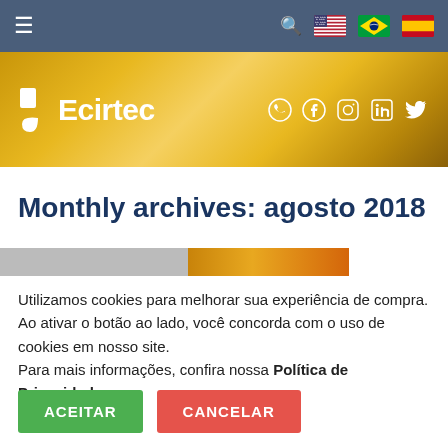≡  🔍  [US flag] [BR flag] [ES flag]
[Figure (logo): Ecirtec logo with droplet icon and social media icons (WhatsApp, Facebook, Instagram, LinkedIn, Twitter) on golden banner]
Monthly archives: agosto 2018
[Figure (photo): Partial image strip — gray and warm golden-orange tones]
Utilizamos cookies para melhorar sua experiência de compra. Ao ativar o botão ao lado, você concorda com o uso de cookies em nosso site. Para mais informações, confira nossa Política de Privacidade.
ACEITAR   CANCELAR